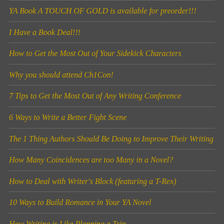YA Book A TOUCH OF GOLD is available for preorder!!!
I Have a Book Deal!!!
How to Get the Most Out of Your Sidekick Characters
Why you should attend Ch1Con!
7 Tips to Get the Most Out of Any Writing Conference
6 Ways to Write a Better Fight Scene
The 1 Thing Authors Should Be Doing to Improve Their Writing
How Many Coincidences are too Many in a Novel?
How to Deal with Writer's Block (featuring a T-Rex)
10 Ways to Build Romance in Your YA Novel
How Writing is Like Planning a Trip